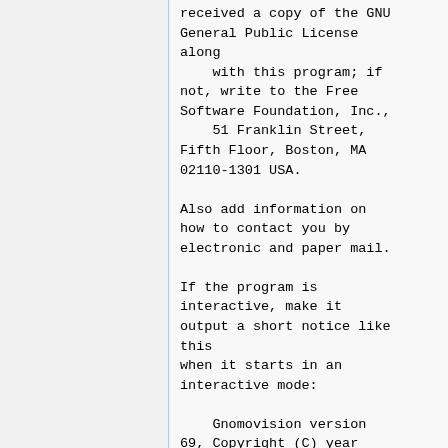received a copy of the GNU General Public License along
    with this program; if not, write to the Free Software Foundation, Inc.,
    51 Franklin Street, Fifth Floor, Boston, MA 02110-1301 USA.

Also add information on how to contact you by electronic and paper mail.

If the program is interactive, make it output a short notice like this
when it starts in an interactive mode:

    Gnomovision version 69, Copyright (C) year name of author
    Gnomovision comes with